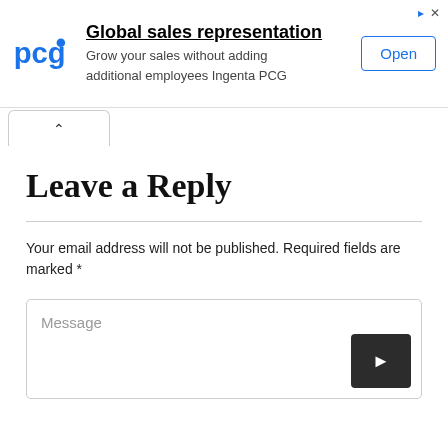[Figure (other): Advertisement banner for PCG (Ingenta PCG) with logo, text 'Global sales representation - Grow your sales without adding additional employees Ingenta PCG', and an 'Open' button.]
Leave a Reply
Your email address will not be published. Required fields are marked *
[Figure (other): Message text input box with placeholder text 'Message' and a dark send button with arrow icon in the bottom right.]